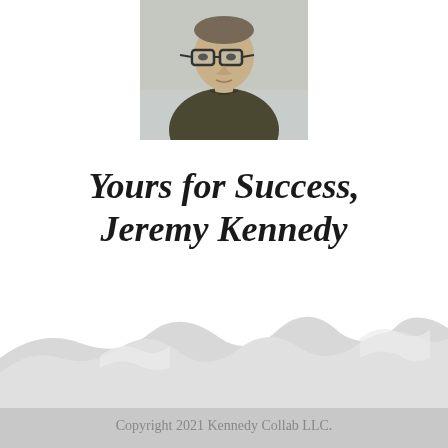[Figure (photo): Headshot photo of a man wearing glasses and a dark olive/green long-sleeve shirt, against a light background]
Yours for Success, Jeremy Kennedy
[Figure (illustration): Decorative bottom background with silhouetted wave/mountain shapes in light gray]
Copyright 2021 Kennedy Collab LLC.